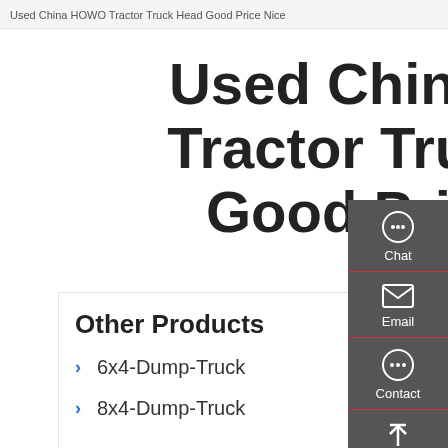Used China HOWO Tractor Truck Head Good Price Nice
Used China HOWO Tractor Truck Head Good Price Nice
Other Products
6x4-Dump-Truck
8x4-Dump-Truck